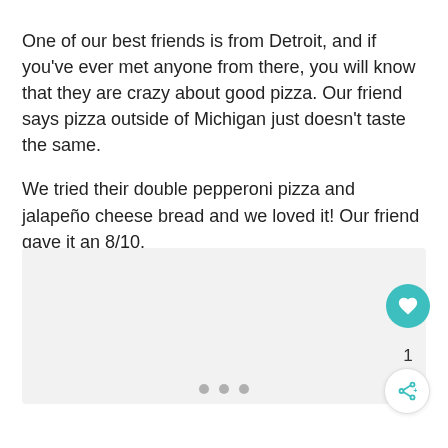One of our best friends is from Detroit, and if you've ever met anyone from there, you will know that they are crazy about good pizza. Our friend says pizza outside of Michigan just doesn't taste the same.
We tried their double pepperoni pizza and jalapeño cheese bread and we loved it! Our friend gave it an 8/10.
[Figure (photo): Light grey placeholder image area with three pagination dots at the bottom center.]